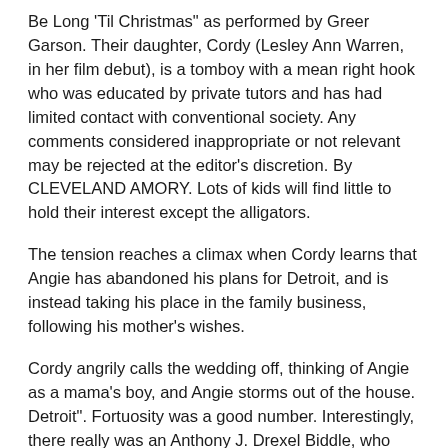Be Long 'Til Christmas" as performed by Greer Garson. Their daughter, Cordy (Lesley Ann Warren, in her film debut), is a tomboy with a mean right hook who was educated by private tutors and has had limited contact with conventional society. Any comments considered inappropriate or not relevant may be rejected at the editor's discretion. By CLEVELAND AMORY. Lots of kids will find little to hold their interest except the alligators.
The tension reaches a climax when Cordy learns that Angie has abandoned his plans for Detroit, and is instead taking his place in the family business, following his mother's wishes.
Cordy angrily calls the wedding off, thinking of Angie as a mama's boy, and Angie storms out of the house. Detroit". Fortuosity was a good number. Interestingly, there really was an Anthony J. Drexel Biddle, who was indeed an eccentric Philadelphia millionaire interested in boxing and alligators.
(The short version of the film ends at this point.) And I love musicals. [14] Lesley Ann Warren, whom Disney had seen in the 1965 CBS television production of Rodgers and Hammerstein's Cinderella, made her screen debut in the film. Walter Pidgeon...